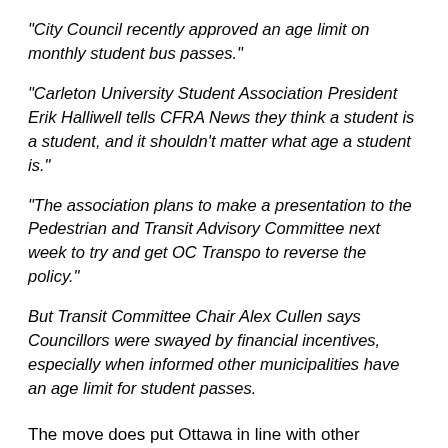"City Council recently approved an age limit on monthly student bus passes."
"Carleton University Student Association President Erik Halliwell tells CFRA News they think a student is a student, and it shouldn't matter what age a student is."
"The association plans to make a presentation to the Pedestrian and Transit Advisory Committee next week to try and get OC Transpo to reverse the policy."
But Transit Committee Chair Alex Cullen says Councillors were swayed by financial incentives, especially when informed other municipalities have an age limit for student passes.
The move does put Ottawa in line with other Canadian cities: Toronto student passes are available to those aged 19 or younger, and in Montréal "students" are defined as under 25.